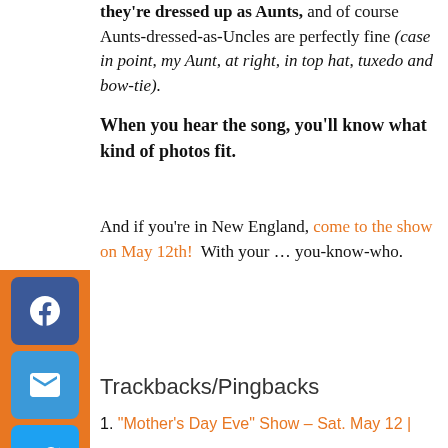they're dressed up as Aunts, and of course Aunts-dressed-as-Uncles are perfectly fine (case in point, my Aunt, at right, in top hat, tuxedo and bow-tie).
When you hear the song, you'll know what kind of photos fit.
And if you're in New England, come to the show on May 12th!  With your … you-know-who.
[Figure (infographic): Social media sharing sidebar with Facebook, Email, Twitter, LinkedIn, and Pinterest buttons on an orange background]
Trackbacks/Pingbacks
1. "Mother's Day Eve" Show – Sat. May 12 |